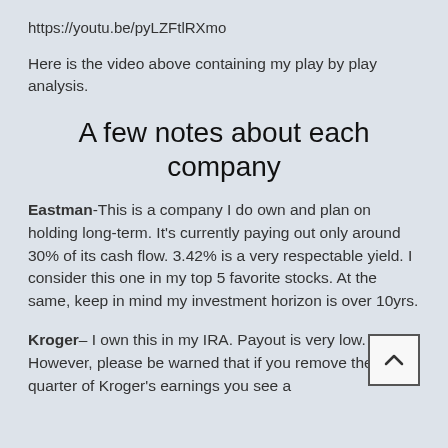https://youtu.be/pyLZFtlRXmo
Here is the video above containing my play by play analysis.
A few notes about each company
Eastman-This is a company I do own and plan on holding long-term. It's currently paying out only around 30% of its cash flow. 3.42% is a very respectable yield. I consider this one in my top 5 favorite stocks. At the same, keep in mind my investment horizon is over 10yrs.
Kroger– I own this in my IRA. Payout is very low. However, please be warned that if you remove the last quarter of Kroger's earnings you see a